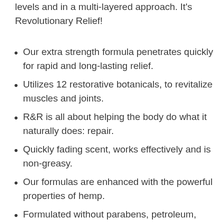levels and in a multi-layered approach. It's Revolutionary Relief!
Our extra strength formula penetrates quickly for rapid and long-lasting relief.
Utilizes 12 restorative botanicals, to revitalize muscles and joints.
R&R is all about helping the body do what it naturally does: repair.
Quickly fading scent, works effectively and is non-greasy.
Our formulas are enhanced with the powerful properties of hemp.
Formulated without parabens, petroleum, propylene glycol, fragrances, and dyes.